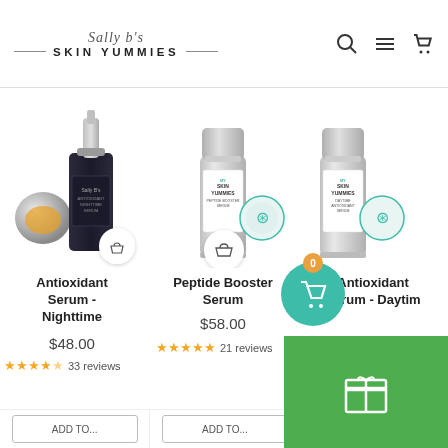Sally b's SKIN YUMMIES
[Figure (photo): Antioxidant Serum Nighttime product - dark bottle with silver pump and silver cap]
Antioxidant Serum - Nighttime
$48.00
4.5 stars 33 reviews
[Figure (photo): Peptide Booster Serum - silver bottle with white label]
Peptide Booster Serum
$58.00
5 stars 21 reviews
[Figure (photo): Antioxidant Serum Daytime - silver bottle with white label, partially visible]
Antioxidant Serum - Daytime
$